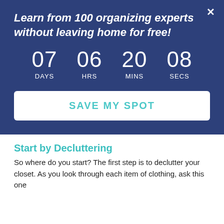Learn from 100 organizing experts without leaving home for free!
07 DAYS  06 HRS  20 MINS  08 SECS
SAVE MY SPOT
Start by Decluttering
So where do you start? The first step is to declutter your closet. As you look through each item of clothing, ask this one